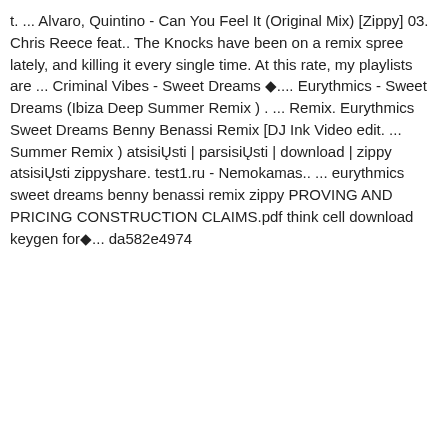t. ... Alvaro, Quintino - Can You Feel It (Original Mix) [Zippy] 03. Chris Reece feat.. The Knocks have been on a remix spree lately, and killing it every single time. At this rate, my playlists are ... Criminal Vibes - Sweet Dreams ◆.... Eurythmics - Sweet Dreams (Ibiza Deep Summer Remix ) . ... Remix. Eurythmics Sweet Dreams Benny Benassi Remix [DJ Ink Video edit. ... Summer Remix ) atsisiŲsti | parsisiŲsti | download | zippy atsisiŲsti zippyshare. test1.ru - Nemokamas.. ... eurythmics sweet dreams benny benassi remix zippy PROVING AND PRICING CONSTRUCTION CLAIMS.pdf think cell download keygen for◆... da582e4974